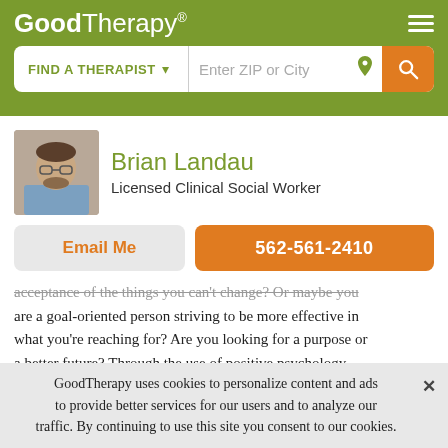GoodTherapy®
FIND A THERAPIST   Enter ZIP or City
Brian Landau
Licensed Clinical Social Worker
Email Me
562-561-2410
acceptance of the things you can't change? Or maybe you are a goal-oriented person striving to be more effective in what you're reaching for? Are you looking for a purpose or a better future? Through the use of positive psychology, motivational strategies, and a steppingstone approach to
GoodTherapy uses cookies to personalize content and ads to provide better services for our users and to analyze our traffic. By continuing to use this site you consent to our cookies.